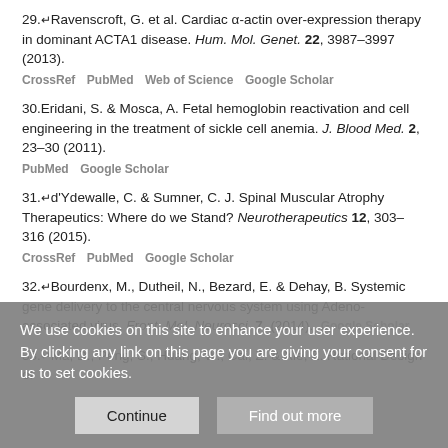29. Ravenscroft, G. et al. Cardiac α-actin over-expression therapy in dominant ACTA1 disease. Hum. Mol. Genet. 22, 3987–3997 (2013). CrossRef PubMed Web of Science Google Scholar
30. Eridani, S. & Mosca, A. Fetal hemoglobin reactivation and cell engineering in the treatment of sickle cell anemia. J. Blood Med. 2, 23–30 (2011). PubMed Google Scholar
31. d'Ydewalle, C. & Sumner, C. J. Spinal Muscular Atrophy Therapeutics: Where do we Stand? Neurotherapeutics 12, 303–316 (2015). CrossRef PubMed Google Scholar
32. Bourdenx, M., Dutheil, N., Bezard, E. & Dehay, B. Systemic gene delivery to the central nervous system using Adeno-associated virus. Front. Mol. Neurosci. 7, (2014). Google Scholar
33. Ma, D., Peng, S., Huang, W., Cai, Z. & Xie, Z. Rational Design of
We use cookies on this site to enhance your user experience. By clicking any link on this page you are giving your consent for us to set cookies.